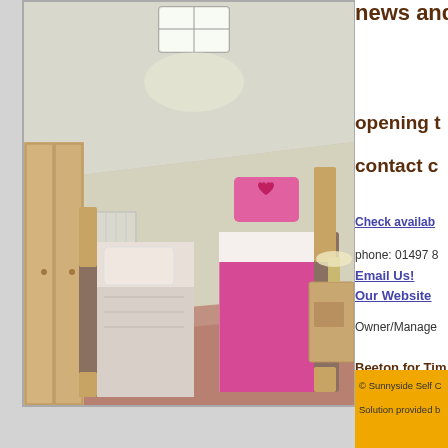[Figure (photo): Interior bedroom photo showing two single beds with wooden frames, pink bedding on one bed, cream/beige walls, sloped ceiling with skylight window, wooden wardrobe on left, bedside tables, pink/terracotta carpet.]
news and
opening t
contact o
Check availab
phone: 01497 8
Email Us!
Our Website
Owner/Manage
Beeton for Tim
Tara, Felindre T
Beeton for Time
230 click throug
© Sunnyside Self C
Solution provided b